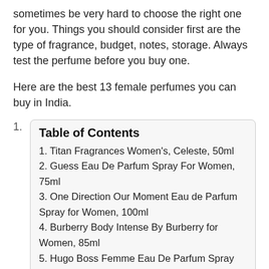sometimes be very hard to choose the right one for you. Things you should consider first are the type of fragrance, budget, notes, storage. Always test the perfume before you buy one.
Here are the best 13 female perfumes you can buy in India.
Table of Contents
1. Titan Fragrances Women's, Celeste, 50ml
2. Guess Eau De Parfum Spray For Women, 75ml
3. One Direction Our Moment Eau de Parfum Spray for Women, 100ml
4. Burberry Body Intense By Burberry for Women, 85ml
5. Hugo Boss Femme Eau De Parfum Spray for Women, 75ml
6. Victoria's Secret Bombshell, 50ml
7. Yves Saint Laurent Black Opium, 90 ml
8. Chanel Coco Mademoiselle Eau De Parfum, 100 ml